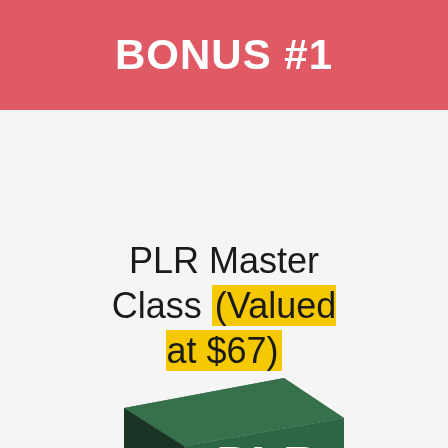BONUS #1
PLR Master Class (Valued at $67)
[Figure (illustration): 3D box product image for PLR Master Class with dark green chalkboard design, white hand-written style text reading PLR MASTER CLASS on front, and spine text PLR MASTER]